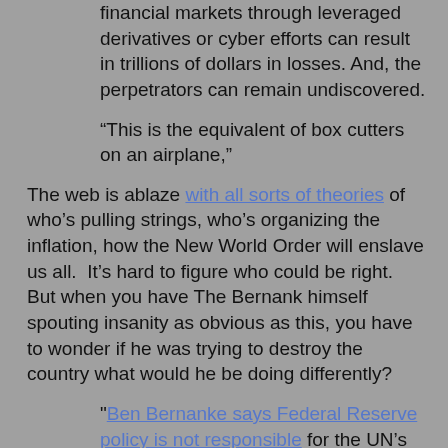financial markets through leveraged derivatives or cyber efforts can result in trillions of dollars in losses. And, the perpetrators can remain undiscovered.
“This is the equivalent of box cutters on an airplane,”
The web is ablaze with all sorts of theories of who’s pulling strings, who’s organizing the inflation, how the New World Order will enslave us all.  It’s hard to figure who could be right.  But when you have The Bernank himself spouting insanity as obvious as this, you have to wonder if he was trying to destroy the country what would he be doing differently?
"Ben Bernanke says Federal Reserve policy is not responsible for the UN’s Food Price Index now standing at its highest level in 21 years or gasoline costs rising 49% in six months."
So Ben will take credit for how the excess money he’s flooded the world with might increase the prices on the stock